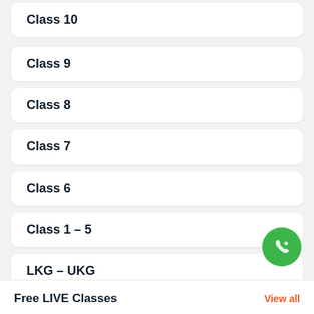Class 10
Class 9
Class 8
Class 7
Class 6
Class 1 – 5
LKG – UKG
[Figure (illustration): Green circular floating action button with phone/forward arrow icon]
Free LIVE Classes
View all